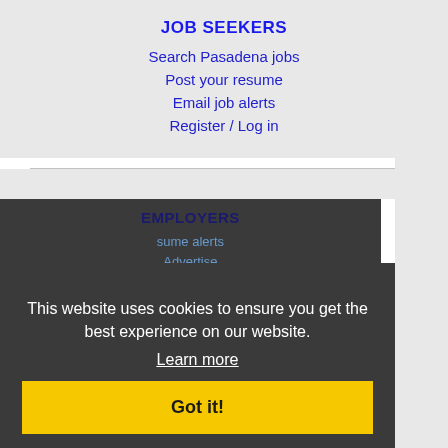JOB SEEKERS
Search Pasadena jobs
Post your resume
Email job alerts
Register / Log in
EMPLOYERS
This website uses cookies to ensure you get the best experience on our website.
Learn more
sume alerts
Advertise
Got it!
IMMIGRATION SPECIALISTS